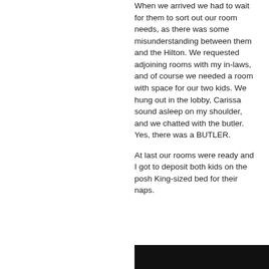When we arrived we had to wait for them to sort out our room needs, as there was some misunderstanding between them and the Hilton. We requested adjoining rooms with my in-laws, and of course we needed a room with space for our two kids. We hung out in the lobby, Carissa sound asleep on my shoulder, and we chatted with the butler. Yes, there was a BUTLER.
At last our rooms were ready and I got to deposit both kids on the posh King-sized bed for their naps.
[Figure (photo): Dark/black image area at the bottom right of the page]